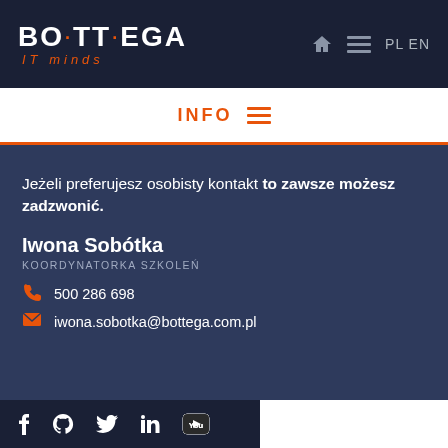[Figure (logo): Bottega IT minds logo in white and orange on dark navy background]
INFO
Jeżeli preferujesz osobisty kontakt to zawsze możesz zadzwonić.
Iwona Sobótka
KOORDYNATORKA SZKOLEŃ
500 286 698
iwona.sobotka@bottega.com.pl
Social icons: Facebook, GitHub, Twitter, LinkedIn, YouTube